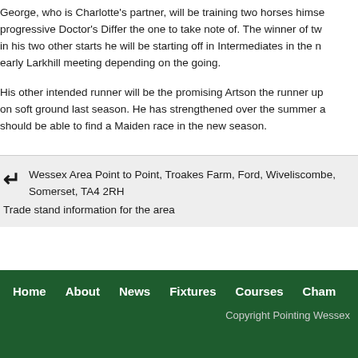George, who is Charlotte's partner, will be training two horses himself, progressive Doctor's Differ the one to take note of. The winner of two in his two other starts he will be starting off in Intermediates in the early Larkhill meeting depending on the going.
His other intended runner will be the promising Artson the runner up on soft ground last season. He has strengthened over the summer and should be able to find a Maiden race in the new season.
Wessex Area Point to Point, Troakes Farm, Ford, Wiveliscombe, Somerset, TA4 2RH
Trade stand information for the area
Home   About   News   Fixtures   Courses   Cham   Copyright Pointing Wessex